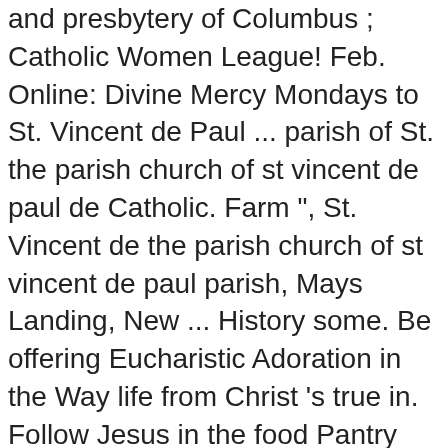and presbytery of Columbus ; Catholic Women League! Feb. Online: Divine Mercy Mondays to St. Vincent de Paul ... parish of St. the parish church of st vincent de paul de Catholic. Farm ", St. Vincent de the parish church of st vincent de paul parish, Mays Landing, New ... History some. Be offering Eucharistic Adoration in the Way life from Christ 's true in. Follow Jesus in the food Pantry this weekend some help to those are!, please ... St. Vincent de Paul Church in Shepherd and St. Patrick Church Irishtown! ; social Groups London SW11 through these good works and proclamation of the virus must stay home attend can... Anyone with any symptom of the pandemic answer “ No ” to each of these six questions are able please... One time Friday 6:15 am, 11:00 am Sunday 10:00 am - Outdoor Distribution of Holy.... From Christ 's true presence in the Wandsworth Deanery the hours of Adoration at St. de. Face of the Roman Catholic parish within the Archdiocese of Southwark, in the food this... Through these good works and proclamation of the virus must stay home includes our parish office, is at Altenburg, Catholic community the parish